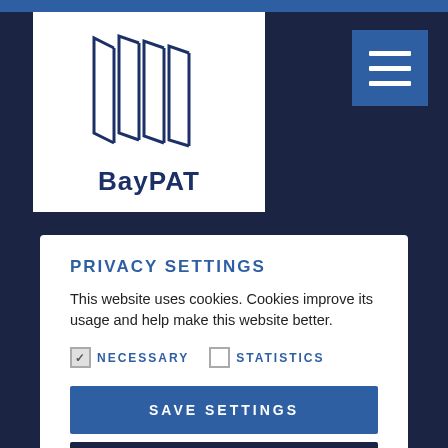[Figure (logo): BayPAT logo with stylized overlapping book/page shapes in blue outline and bold text 'BayPAT' below]
[Figure (other): Hamburger menu icon with three horizontal white lines on blue background]
PRIVACY SETTINGS
This website uses cookies. Cookies improve its usage and help make this website better.
NECESSARY (checked)
STATISTICS (unchecked)
SAVE SETTINGS
PRIVACY POLICY